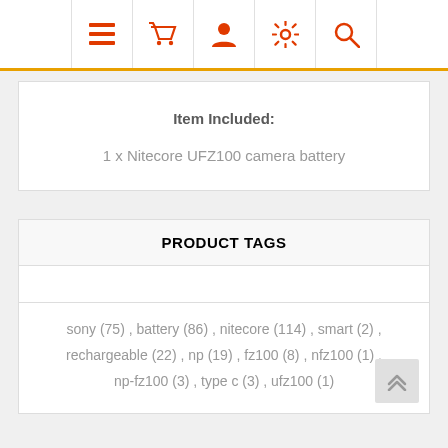Navigation bar with icons: menu, basket, user, settings, search
Item Included:
1 x Nitecore UFZ100 camera battery
PRODUCT TAGS
sony (75) , battery (86) , nitecore (114) , smart (2) , rechargeable (22) , np (19) , fz100 (8) , nfz100 (1) , np-fz100 (3) , type c (3) , ufz100 (1)